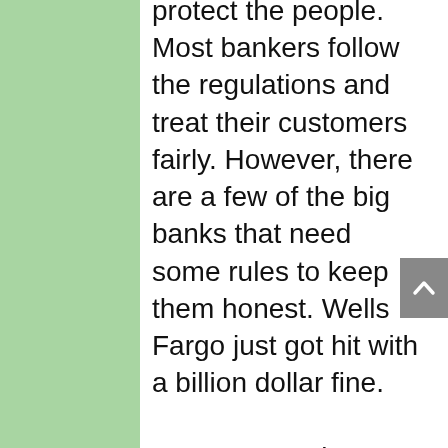protect the people. Most bankers follow the regulations and treat their customers fairly. However, there are a few of the big banks that need some rules to keep them honest. Wells Fargo just got hit with a billion dollar fine.

Trump's appointment to the Consumer Protection Agency called the agency a sad group. I would bet that his job is to repeal all of the regulations that protect the consumer and gut the agency.

It is one thing to reduce the footprint of Government but quite